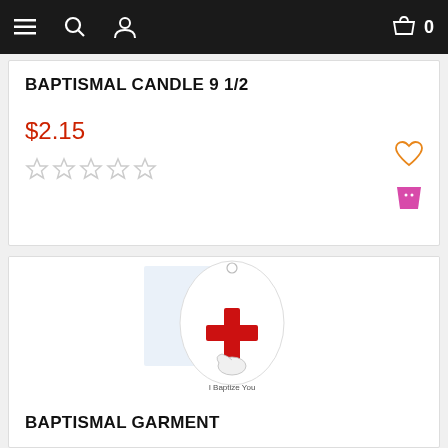Navigation bar with menu, search, user, cart icons (0 items)
BAPTISMAL CANDLE 9 1/2
$2.15
[Figure (other): Five empty/unfilled star rating icons]
[Figure (other): Heart (wishlist) icon and pink shopping bag icon]
[Figure (photo): Baptismal garment product image: white garment/shield shape with red cross and dove, text reads 'I Baptize You']
BAPTISMAL GARMENT